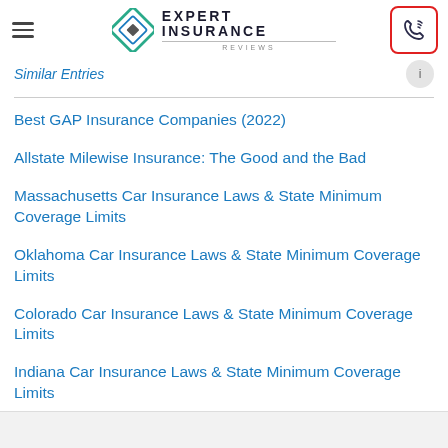Expert Insurance Reviews
Similar Entries
Best GAP Insurance Companies (2022)
Allstate Milewise Insurance: The Good and the Bad
Massachusetts Car Insurance Laws & State Minimum Coverage Limits
Oklahoma Car Insurance Laws & State Minimum Coverage Limits
Colorado Car Insurance Laws & State Minimum Coverage Limits
Indiana Car Insurance Laws & State Minimum Coverage Limits